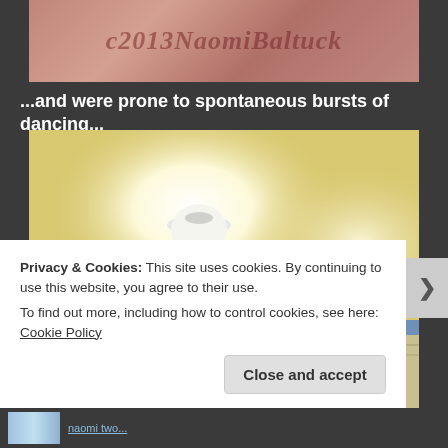[Figure (photo): A photo with watermark text reading 'c2013NaomiBaltuck' overlaid on a reddish-pink background image]
...and were prone to spontaneous bursts of dancing...
[Figure (photo): An interior room photo taken from below showing a ceiling light fixture, yellow walls, blue trim, and bright glare from the light]
Privacy & Cookies: This site uses cookies. By continuing to use this website, you agree to their use.
To find out more, including how to control cookies, see here: Cookie Policy
Close and accept